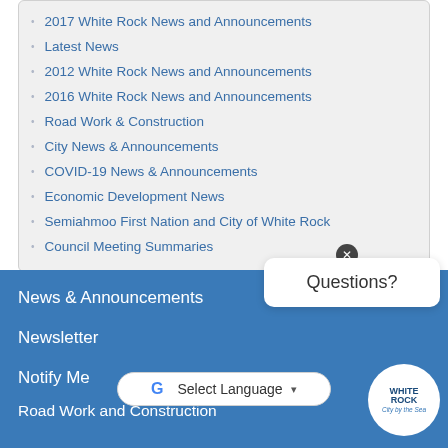2017 White Rock News and Announcements
Latest News
2012 White Rock News and Announcements
2016 White Rock News and Announcements
Road Work & Construction
City News & Announcements
COVID-19 News & Announcements
Economic Development News
Semiahmoo First Nation and City of White Rock
Council Meeting Summaries
News & Announcements
Newsletter
Notify Me
Road Work and Construction